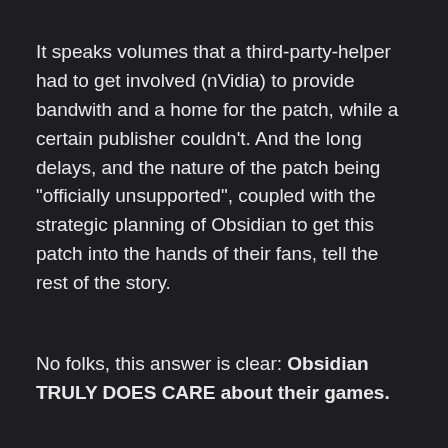It speaks volumes that a third-party-helper had to get involved (nVidia) to provide bandwith and a home for the patch, while a certain publisher couldn't. And the long delays, and the nature of the patch being "officially unsupported", coupled with the strategic planning of Obsidian to get this patch into the hands of their fans, tell the rest of the story.
No folks, this answer is clear: Obsidian TRULY DOES CARE about their games.
And this is good news to all of us, because I'm sure